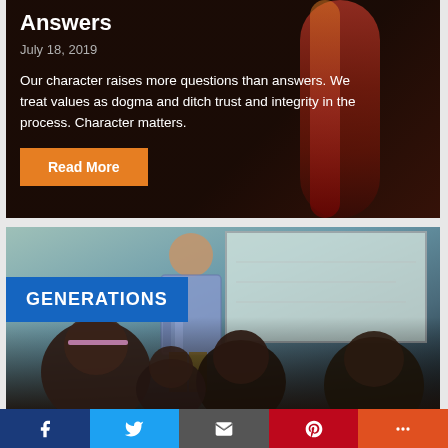Answers
July 18, 2019
Our character raises more questions than answers. We treat values as dogma and ditch trust and integrity in the process. Character matters.
Read More
[Figure (photo): Classroom scene with teacher standing in front of whiteboard and students seated with backs to camera]
GENERATIONS
Facebook Twitter Email Pinterest More